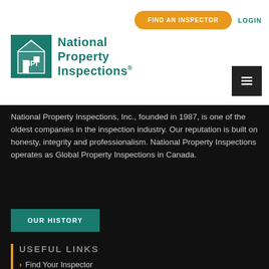[Figure (logo): National Property Inspections logo with NPI house icon and teal text]
FIND AN INSPECTOR
LOGIN
National Property Inspections, Inc., founded in 1987, is one of the oldest companies in the inspection industry. Our reputation is built on honesty, integrity and professionalism. National Property Inspections operates as Global Property Inspections in Canada.
OUR HISTORY
USEFUL LINKS
Find Your Inspector